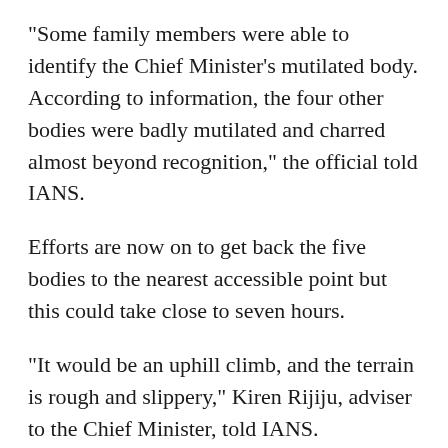"Some family members were able to identify the Chief Minister's mutilated body. According to information, the four other bodies were badly mutilated and charred almost beyond recognition," the official told IANS.
Efforts are now on to get back the five bodies to the nearest accessible point but this could take close to seven hours.
"It would be an uphill climb, and the terrain is rough and slippery," Kiren Rijiju, adviser to the Chief Minister, told IANS.
As news of the sighting of the wreckage spread, a pall of gloom descended in the mountainous State.
"This is heartbreaking. We are sad as the Chief Minister